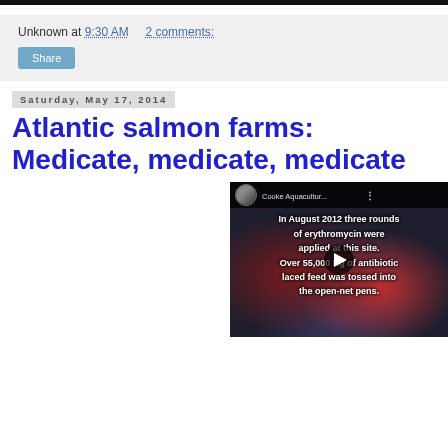Unknown at 9:30 AM   2 comments:
Share
Saturday, May 17, 2014
Atlantic salmon farms: Medicate, medicate, medicate
[Figure (screenshot): Video thumbnail showing text overlay: 'In August 2012 three rounds of erythromycin were applied at this site. Over 55,000 Kg of antibiotic laced feed was tossed into the open-net pens.' with Cooke Aquacultur... channel name and play button.]